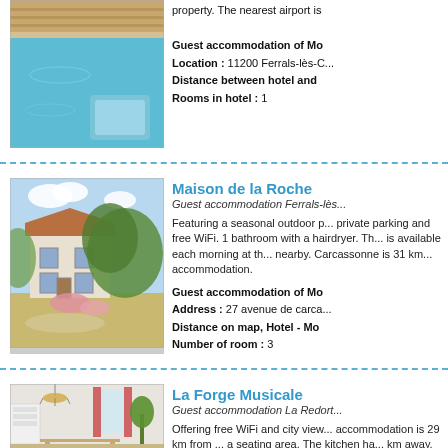[Figure (photo): Aerial view of a swimming pool with blue water and wooden deck]
Guest accommodation of Mo... Location : 11200 Ferrals-lès-C... Distance between hotel and ... Rooms in hotel : 1
Maison de la Roche
Guest accommodation Ferrals-lès...
Featuring a seasonal outdoor p... private parking and free WiFi. 1 bathroom with a hairdryer. Th... is available each morning at th... nearby. Carcassonne is 31 km... accommodation.
Guest accommodation of Mo... Address : 27 avenue de carca... Distance on map, Hotel - Mo... Number of room : 3
[Figure (photo): Exterior view of a French country house with garden and flowering plants]
La Forge Musicale
Guest accommodation La Redort...
Offering free WiFi and city view... accommodation is 29 km from ... a seating area. The kitchen ha... km away.
Guest accommodation Mont... Location : 9 Rue Des Forgero... Route on map, Hotel - Montb...
[Figure (photo): Interior of a dining room with chandelier, red curtains and white furniture]
[Figure (photo): Exterior view of a building]